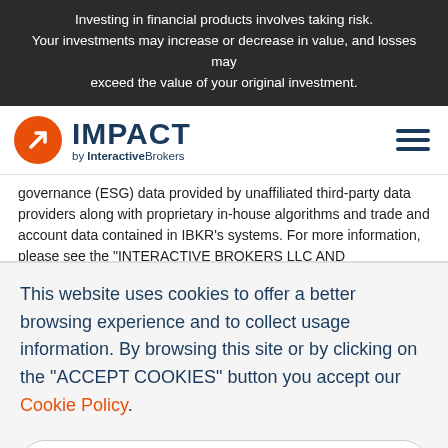Investing in financial products involves taking risk. Your investments may increase or decrease in value, and losses may exceed the value of your original investment.
[Figure (logo): IMPACT by InteractiveBrokers logo with orange circle containing stylized arrow icon, and hamburger menu icon on the right]
governance (ESG) data provided by unaffiliated third-party data providers along with proprietary in-house algorithms and trade and account data contained in IBKR's systems. For more information, please see the "INTERACTIVE BROKERS LLC AND
This website uses cookies to offer a better browsing experience and to collect usage information. By browsing this site or by clicking on the "ACCEPT COOKIES" button you accept our Cookie Policy.
Cookie Settings
Accept Cookies